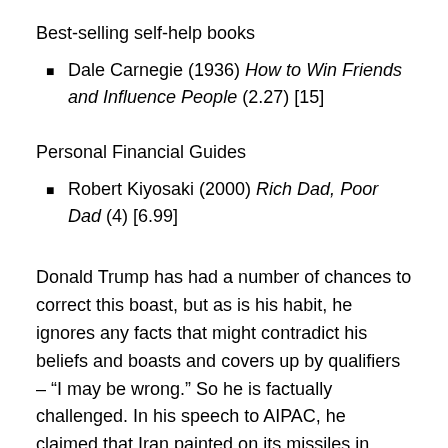Best-selling self-help books
Dale Carnegie (1936) How to Win Friends and Influence People (2.27) [15]
Personal Financial Guides
Robert Kiyosaki (2000) Rich Dad, Poor Dad (4) [6.99]
Donald Trump has had a number of chances to correct this boast, but as is his habit, he ignores any facts that might contradict his beliefs and boasts and covers up by qualifiers – “I may be wrong.” So he is factually challenged. In his speech to AIPAC, he claimed that Iran painted on its missiles in Farsi and Hebrew, “Israel must be wiped off the face of the earth.”  Iran has enough horrific attributes without repeating sources such as Zerohedge that has, since offering this claimed fact, been